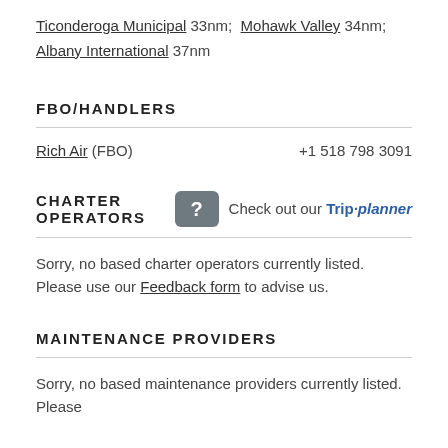Ticonderoga Municipal 33nm; Mohawk Valley 34nm; Albany International 37nm
FBO/HANDLERS
Rich Air (FBO)  +1 518 798 3091
CHARTER OPERATORS
Check out our Trip planner
Sorry, no based charter operators currently listed. Please use our Feedback form to advise us.
MAINTENANCE PROVIDERS
Sorry, no based maintenance providers currently listed. Please